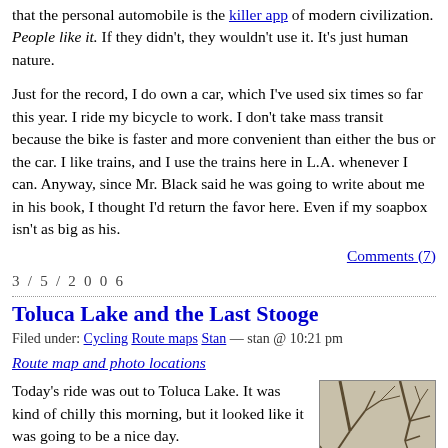that the personal automobile is the killer app of modern civilization. People like it. If they didn't, they wouldn't use it. It's just human nature.
Just for the record, I do own a car, which I've used six times so far this year. I ride my bicycle to work. I don't take mass transit because the bike is faster and more convenient than either the bus or the car. I like trains, and I use the trains here in L.A. whenever I can. Anyway, since Mr. Black said he was going to write about me in his book, I thought I'd return the favor here. Even if my soapbox isn't as big as his.
Comments (7)
3 / 5 / 2 0 0 6
Toluca Lake and the Last Stooge
Filed under: Cycling Route maps Stan — stan @ 10:21 pm
Route map and photo locations
Today's ride was out to Toluca Lake. It was kind of chilly this morning, but it looked like it was going to be a nice day.
[Figure (photo): Street sign for Bob Hope Dr surrounded by bare tree branches]